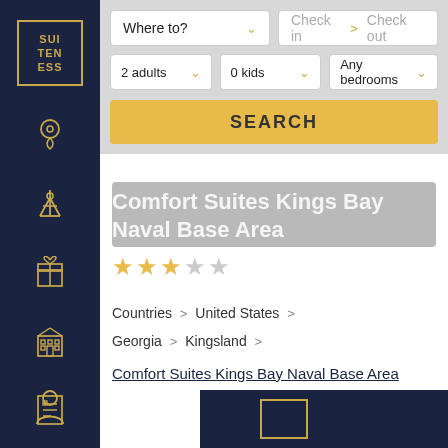[Figure (logo): Suiteness logo — white text on dark navy background with gold border: SUI TEN ESS]
[Figure (infographic): Left sidebar with dark navy background containing icons: location pin, signal tower, gift box, building/hotel, document, and user/person icon at bottom]
Where to?
Check in  >  Check out
2 adults
0 kids
Any bedrooms
SEARCH
Comfort Suites Kings Bay Naval Base Area
★★★★☆ (3.5 stars out of 5)
Countries  >  United States  >  Georgia  >  Kingsland
Comfort Suites Kings Bay Naval Base Area